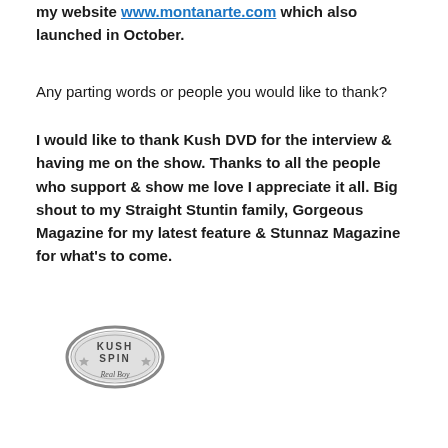my website www.montanarte.com which also launched in October.
Any parting words or people you would like to thank?
I would like to thank Kush DVD for the interview & having me on the show. Thanks to all the people who support & show me love I appreciate it all. Big shout to my Straight Stuntin family, Gorgeous Magazine for my latest feature & Stunnaz Magazine for what's to come.
[Figure (logo): Kush Spin logo in greyscale, circular badge style with cursive text]